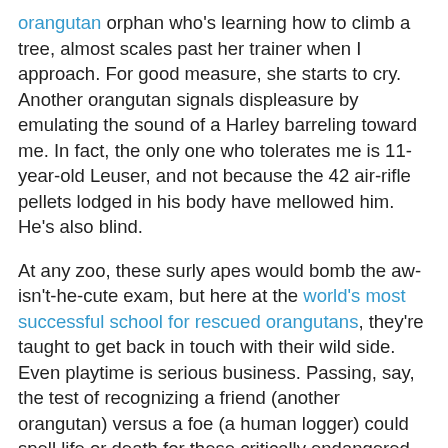orangutan orphan who's learning how to climb a tree, almost scales past her trainer when I approach. For good measure, she starts to cry. Another orangutan signals displeasure by emulating the sound of a Harley barreling toward me. In fact, the only one who tolerates me is 11-year-old Leuser, and not because the 42 air-rifle pellets lodged in his body have mellowed him. He's also blind.
At any zoo, these surly apes would bomb the aw-isn't-he-cute exam, but here at the world's most successful school for rescued orangutans, they're taught to get back in touch with their wild side. Even playtime is serious business. Passing, say, the test of recognizing a friend (another orangutan) versus a foe (a human logger) could spell life or death for these critically endangered icons of the old world jungle.
Everything happens here with one goal in mind: graduation day, when the shaggy students are set loose into the harsh Sumatran rain forest. But for the students to have a shot at